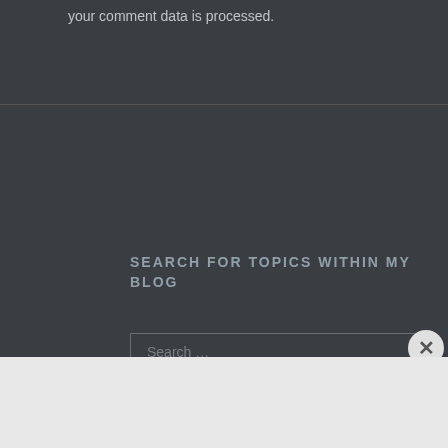your comment data is processed.
SEARCH FOR TOPICS WITHIN MY BLOG
Search ...
Sort by
Relevance
Advertisements
[Figure (other): Advertisement banner: Launch your online course with WordPress - Learn More button, with a tree/person icon on white circle background on dark navy background]